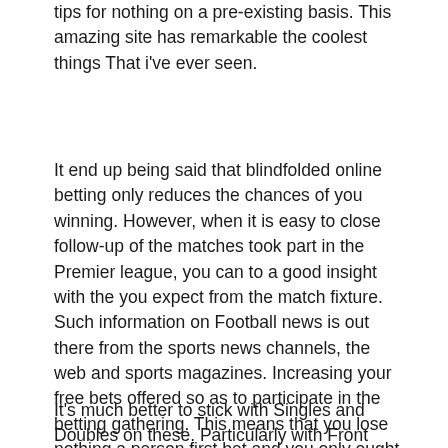tips for nothing on a pre-existing basis. This amazing site has remarkable the coolest things That i've ever seen.
It end up being said that blindfolded online betting only reduces the chances of you winning. However, when it is easy to close follow-up of the matches took part in the Premier league, you can to a good insight with the you expect from the match fixture. Such information on Football news is out there from the sports news channels, the web and sports magazines. Increasing your free bets offered so as to participate in the betting gathering. This means that you lose nothing a person first bet and you only ought to spare some time to place the bet.
It's much better to stick with Singles and Doubles on these. Particularly with Front Squats (it is likely be a